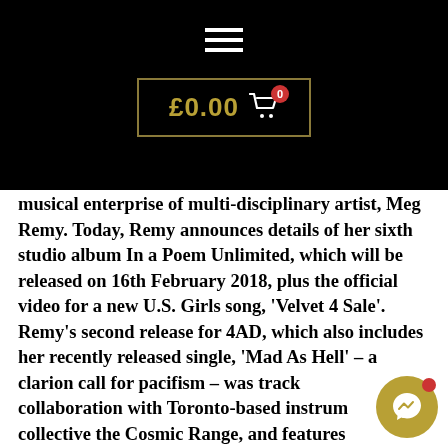Navigation menu and cart: £0.00 (0 items)
musical enterprise of multi-disciplinary artist, Meg Remy. Today, Remy announces details of her sixth studio album In a Poem Unlimited, which will be released on 16th February 2018, plus the official video for a new U.S. Girls song, 'Velvet 4 Sale'. Remy's second release for 4AD, which also includes her recently released single, 'Mad As Hell' – a clarion call for pacifism – was tracked in collaboration with Toronto-based instrumental collective the Cosmic Range, and features